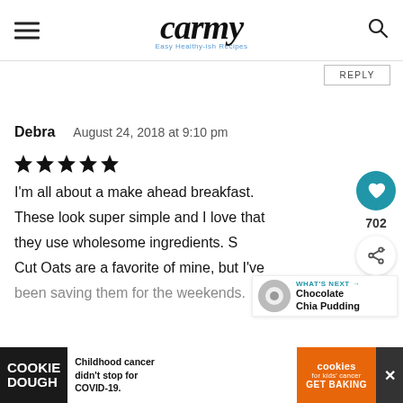carmy — Easy Healthy-ish Recipes
REPLY
Debra   August 24, 2018 at 9:10 pm
[Figure (other): 5 filled star rating icons]
I'm all about a make ahead breakfast. These look super simple and I love that they use wholesome ingredients. Cut Oats are a favorite of mine, but I've been saving them for the weekends.
[Figure (other): Heart like button (teal circle with heart icon), count 702, and share button]
[Figure (other): What's Next promotion showing Chocolate Chia Pudding with thumbnail]
[Figure (other): Advertisement bar: COOKIE DOUGH / Childhood cancer didn't stop for COVID-19. / cookies for kids cancer GET BAKING]